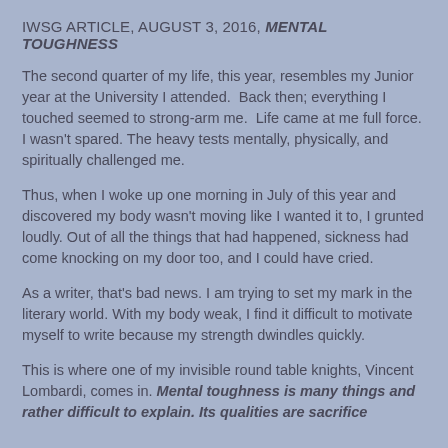IWSG ARTICLE, AUGUST 3, 2016, MENTAL TOUGHNESS
The second quarter of my life, this year, resembles my Junior year at the University I attended.  Back then; everything I touched seemed to strong-arm me.  Life came at me full force.  I wasn't spared. The heavy tests mentally, physically, and spiritually challenged me.
Thus, when I woke up one morning in July of this year and discovered my body wasn't moving like I wanted it to, I grunted loudly. Out of all the things that had happened, sickness had come knocking on my door too, and I could have cried.
As a writer, that's bad news. I am trying to set my mark in the literary world. With my body weak, I find it difficult to motivate myself to write because my strength dwindles quickly.
This is where one of my invisible round table knights, Vincent Lombardi, comes in. Mental toughness is many things and rather difficult to explain. Its qualities are sacrifice